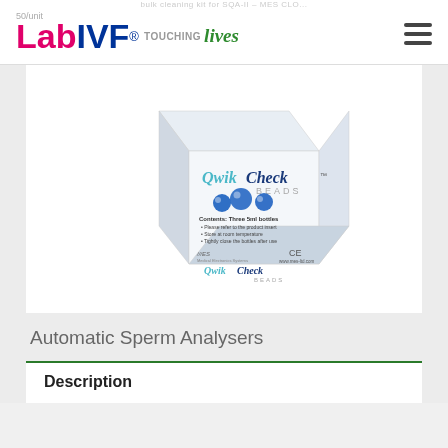LabIVF® Touching Lives — Automatic Sperm Analysers
[Figure (photo): QwikCheck Beads product box — a white cube-shaped box showing the QwikCheck Beads branding with blue decorative spheres, MES (Medical Electronics Systems) logo, CE mark, www.mes-ltd.com, and text: Contents: Three 5ml bottles, Please refer to the product insert, Store at room temperature, Tightly close the bottles after use.]
Automatic Sperm Analysers
Description